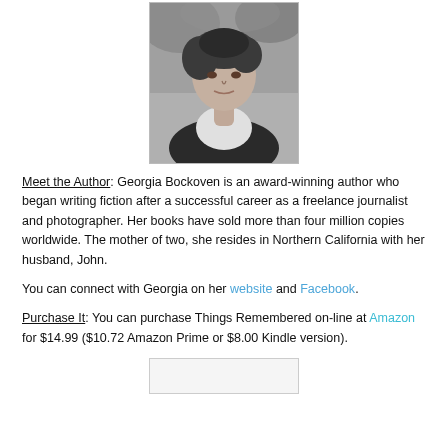[Figure (photo): Black and white photograph of Georgia Bockoven, an older woman with short dark hair, looking upward, wearing a dark jacket over a white top, with foliage in the background.]
Meet the Author:  Georgia Bockoven is an award-winning author who began writing fiction after a successful career as a freelance journalist and photographer. Her books have sold more than four million copies worldwide. The mother of two, she resides in Northern California with her husband, John.
You can connect with Georgia on her website and Facebook.
Purchase It:  You can purchase Things Remembered on-line at Amazon for $14.99 ($10.72 Amazon Prime or $8.00 Kindle version).
[Figure (photo): Partial view of a second image at the bottom of the page, mostly cropped off.]